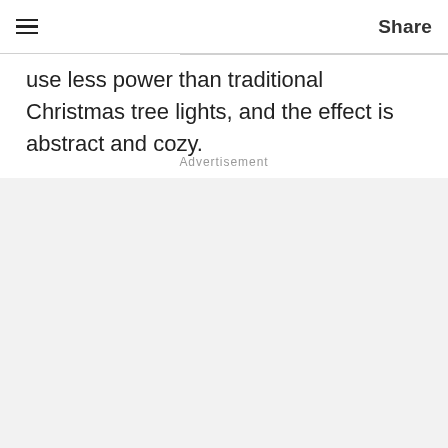Share
use less power than traditional Christmas tree lights, and the effect is abstract and cozy.
Advertisement